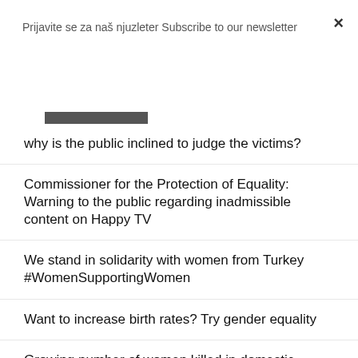Prijavite se za naš njuzleter Subscribe to our newsletter
Subscribe
why is the public inclined to judge the victims?
Commissioner for the Protection of Equality: Warning to the public regarding inadmissible content on Happy TV
We stand in solidarity with women from Turkey #WomenSupportingWomen
Want to increase birth rates? Try gender equality
Growing number of women killed in domestic violence
How violence permeates the lives of migrant